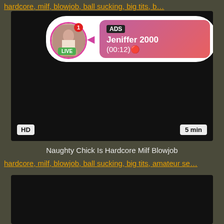hardcore, milf, b...
[Figure (screenshot): Video thumbnail with black background, HD badge and 5 min duration, with ad overlay showing Jeniffer 2000 live stream]
Naughty Chick Is Hardcore Milf Blowjob
hardcore, milf, blowjob, ball sucking, big tits, amateur se...
[Figure (screenshot): Second video thumbnail with black background]